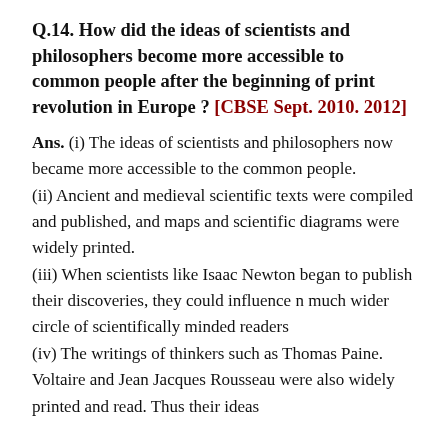Q.14. How did the ideas of scientists and philosophers become more accessible to common people after the beginning of print revolution in Europe ? [CBSE Sept. 2010. 2012]
Ans. (i) The ideas of scientists and philosophers now became more accessible to the common people. (ii) Ancient and medieval scientific texts were compiled and published, and maps and scientific diagrams were widely printed. (iii) When scientists like Isaac Newton began to publish their discoveries, they could influence n much wider circle of scientifically minded readers (iv) The writings of thinkers such as Thomas Paine. Voltaire and Jean Jacques Rousseau were also widely printed and read. Thus their ideas